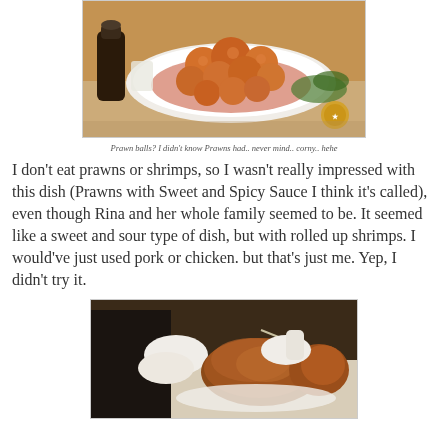[Figure (photo): Photo of fried prawn balls on a white plate with reddish sauce, sauce bottle in background, restaurant setting. Watermark logo visible in bottom right corner.]
Prawn balls? I didn't know Prawns had.. never mind.. corny.. hehe
I don't eat prawns or shrimps, so I wasn't really impressed with this dish (Prawns with Sweet and Spicy Sauce I think it's called), even though Rina and her whole family seemed to be. It seemed like a sweet and sour type of dish, but with rolled up shrimps. I would've just used pork or chicken. but that's just me. Yep, I didn't try it.
[Figure (photo): Photo of someone in white gloves carving or holding a roasted suckling pig or similar whole roasted meat on a plate.]